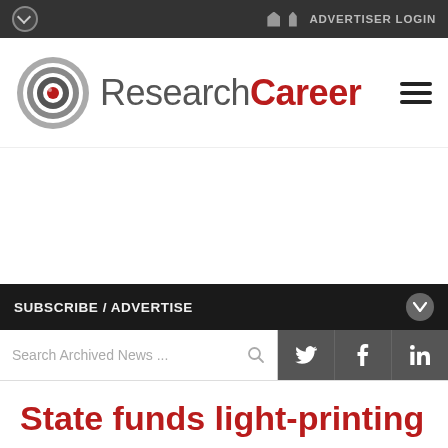ADVERTISER LOGIN
[Figure (logo): ResearchCareer logo with circular target icon and text 'ResearchCareer' where 'Career' is in dark red bold]
SUBSCRIBE / ADVERTISE
Search Archived News ...
State funds light-printing
25 NOVEMBER 2019
The d...